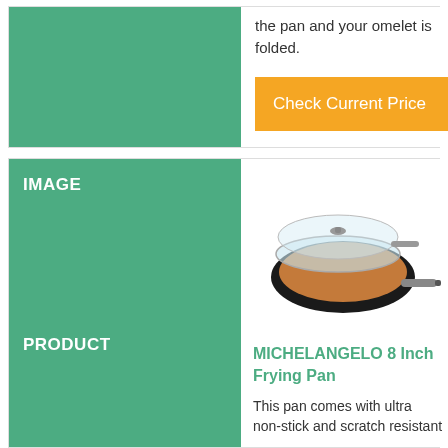the pan and your omelet is folded.
Check Current Price
IMAGE
[Figure (photo): MICHELANGELO 8 Inch Frying Pan with copper non-stick interior and glass lid, with silver handle]
PRODUCT
MICHELANGELO 8 Inch Frying Pan
This pan comes with ultra non-stick and scratch resistant